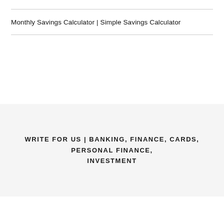Monthly Savings Calculator | Simple Savings Calculator
WRITE FOR US | BANKING, FINANCE, CARDS, PERSONAL FINANCE, INVESTMENT